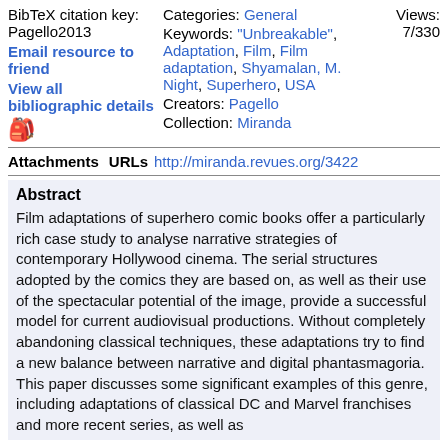BibTeX citation key: Pagello2013
Email resource to friend
View all bibliographic details
Categories: General
Keywords: "Unbreakable", Adaptation, Film, Film adaptation, Shyamalan, M. Night, Superhero, USA
Creators: Pagello
Collection: Miranda
Views: 7/330
Attachments   URLs   http://miranda.revues.org/3422
Abstract
Film adaptations of superhero comic books offer a particularly rich case study to analyse narrative strategies of contemporary Hollywood cinema. The serial structures adopted by the comics they are based on, as well as their use of the spectacular potential of the image, provide a successful model for current audiovisual productions. Without completely abandoning classical techniques, these adaptations try to find a new balance between narrative and digital phantasmagoria. This paper discusses some significant examples of this genre, including adaptations of classical DC and Marvel franchises and more recent series, as well as